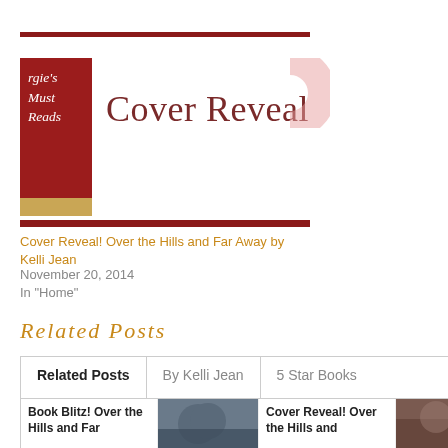[Figure (logo): Angie's Must Reads blog logo - red banner with white text and Cover Reveal heading]
Cover Reveal! Over the Hills and Far Away by Kelli Jean
November 20, 2014
In "Home"
Related Posts
Related Posts | By Kelli Jean | 5 Star Books
Book Blitz! Over the Hills and Far
Cover Reveal! Over the Hills and